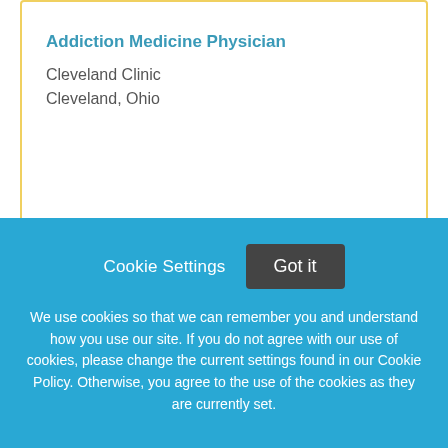Addiction Medicine Physician
Cleveland Clinic
Cleveland, Ohio
Featured!
Fellowship Program Director and Medical Director
Rutgers New Jersey Medical School
Cookie Settings
Got it
We use cookies so that we can remember you and understand how you use our site. If you do not agree with our use of cookies, please change the current settings found in our Cookie Policy. Otherwise, you agree to the use of the cookies as they are currently set.